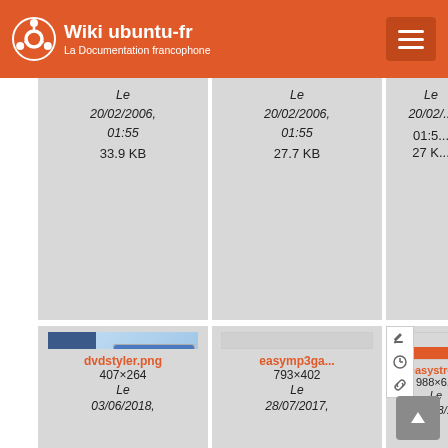Wiki ubuntu-fr — La Documentation francophone
[Figure (screenshot): File gallery grid showing image thumbnails with filenames, dimensions, dates and file sizes. Top row shows three partially visible cards with dates 20/02/2006 01:55 and sizes 33.9 KB, 27.7 KB, 27 KB. Middle row shows dvdstyler.png (407×264, 03/06/2018, 15:47, 87.8 KB), easymp3ga... (793×402, 28/07/2017, 14:12, 41.5 KB), and easystro... (988×6..., 21/03/..., 13:1..., 43 K...). Bottom row shows partial thumbnails.]
dvdstyler.png
407×264
Le 03/06/2018, 15:47
87.8 KB
easymp3ga...
793×402
Le 28/07/2017, 14:12
41.5 KB
easystro...
988×6...
Le 21/03/..., 13:1...
43 K...